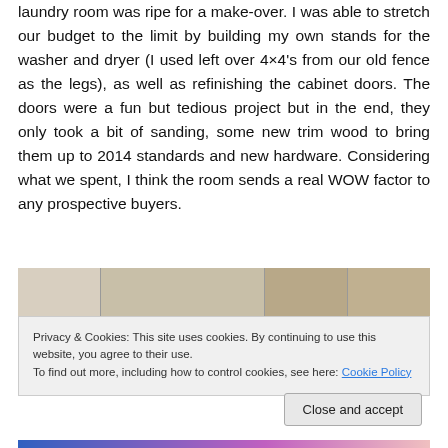laundry room was ripe for a make-over. I was able to stretch our budget to the limit by building my own stands for the washer and dryer (I used left over 4×4's from our old fence as the legs), as well as refinishing the cabinet doors. The doors were a fun but tedious project but in the end, they only took a bit of sanding, some new trim wood to bring them up to 2014 standards and new hardware. Considering what we spent, I think the room sends a real WOW factor to any prospective buyers.
[Figure (photo): Partial view of a laundry room renovation photo, cropped at top of frame showing shelves and cabinets]
Privacy & Cookies: This site uses cookies. By continuing to use this website, you agree to their use.
To find out more, including how to control cookies, see here: Cookie Policy